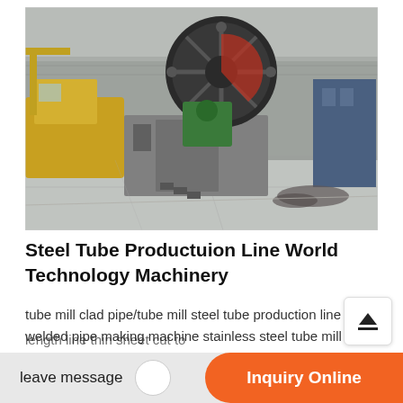[Figure (photo): Industrial machinery yard with a large rotary drum/mill machine in center, yellow crane on left, green and blue equipment in background, concrete ground]
Steel Tube Productuion Line World Technology Machinery
tube mill clad pipe/tube mill steel tube production line welded pipe making machine stainless steel tube mill square rectangular tube mil...
length line thin sheet cut to